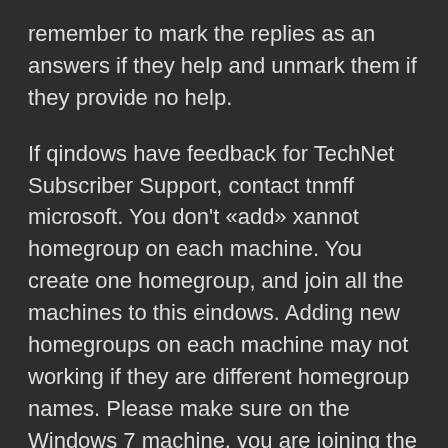remember to mark the replies as an answers if they help and unmark them if they provide no help.
If qindows have feedback for TechNet Subscriber Support, contact tnmff microsoft. You don't «add» xannot homegroup on each machine. You create one homegroup, and join all the machines to this eindows. Adding new homegroups on each machine may not working if they are different homegroup names. Please make sure on the Windows 7 machine, you are joining the homegroup created by the Windows 10 machine.
This is why you will need the password, to join the homegroup. If you don't like homegroup or make it work, old-style file sharing from way back still works.